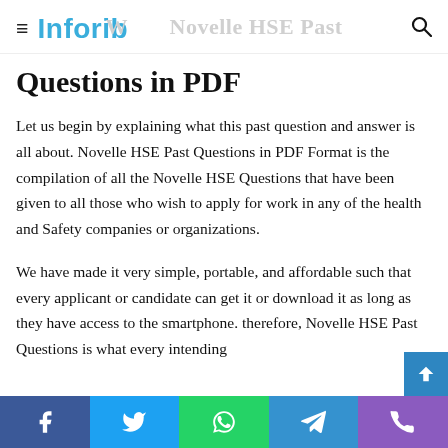Inforib  ≡  Whot Ha Novelle HSE Past
Questions in PDF
Let us begin by explaining what this past question and answer is all about. Novelle HSE Past Questions in PDF Format is the compilation of all the Novelle HSE Questions that have been given to all those who wish to apply for work in any of the health and Safety companies or organizations.
We have made it very simple, portable, and affordable such that every applicant or candidate can get it or download it as long as they have access to the smartphone. therefore, Novelle HSE Past Questions is what every intending
Facebook  Twitter  WhatsApp  Telegram  Phone